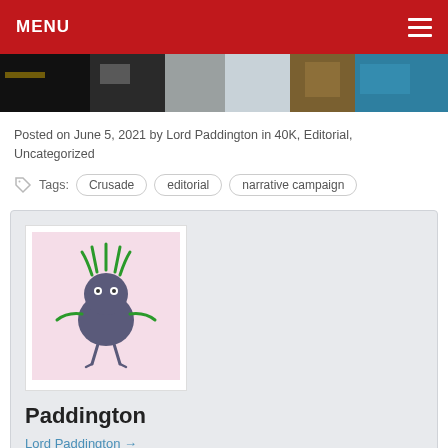MENU
[Figure (photo): Banner image strip with dark and colorful texture segments]
Posted on June 5, 2021 by Lord Paddington in 40K, Editorial, Uncategorized
Tags: Crusade  editorial  narrative campaign
[Figure (illustration): Author card with pixel-art character avatar (dark blob creature with green tentacles), author name 'Paddington', and link 'Lord Paddington →']
Subscribe